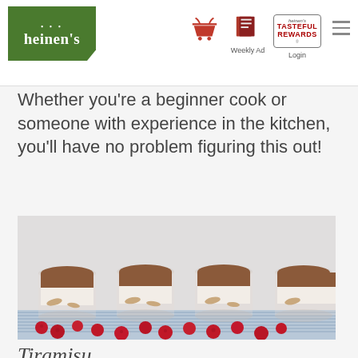[Figure (screenshot): Heinen's grocery store website header with logo, Weekly Ad icon, Tasteful Rewards login, and hamburger menu]
Whether you're a beginner cook or someone with experience in the kitchen, you'll have no problem figuring this out!
[Figure (photo): Four glass cups layered with tiramisu cream and cocoa topping, surrounded by fresh raspberries on a striped blue cloth]
Tiramisu